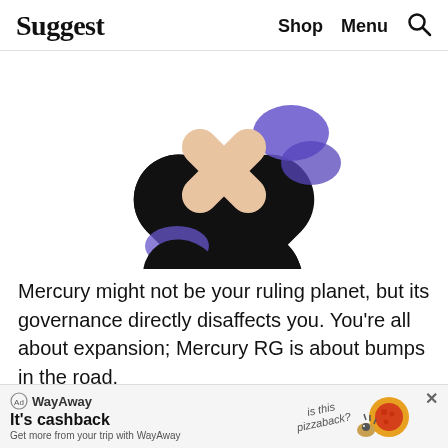Suggest  Shop  Menu  🔍
[Figure (illustration): Illustration of two crossed black tubes or sticks shaped like an X, with a peach/skin-tone X shape in the center and blue decorative accents, on a white background.]
Mercury might not be your ruling planet, but its governance directly disaffects you. You're all about expansion; Mercury RG is about bumps in the road.
[Figure (other): WayAway advertisement banner with logo, headline 'It's cashback', subtext 'Get more from your trip with WayAway', and a cartoon pizza illustration with text 'is this pizzaback?']